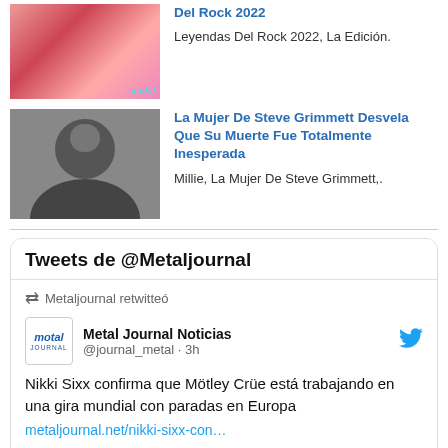[Figure (photo): Color performance photo with pink/red tones, motal badge visible]
Del Rock 2022
Leyendas Del Rock 2022, La Edición.
[Figure (photo): Black and white photo of Steve Grimmett]
La Mujer De Steve Grimmett Desvela Que Su Muerte Fue Totalmente Inesperada
Millie, La Mujer De Steve Grimmett,.
Tweets de @Metaljournal
Metaljournal retwitteó
Metal Journal Noticias @journal_metal · 3h
Nikki Sixx confirma que Mötley Crüe está trabajando en una gira mundial con paradas en Europa metaljournal.net/nikki-sixx-con…